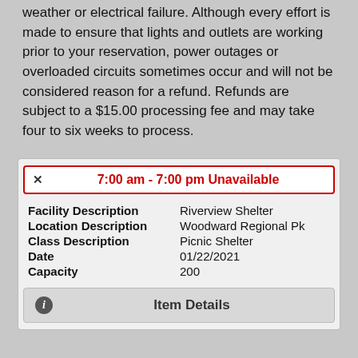weather or electrical failure. Although every effort is made to ensure that lights and outlets are working prior to your reservation, power outages or overloaded circuits sometimes occur and will not be considered reason for a refund. Refunds are subject to a $15.00 processing fee and may take four to six weeks to process.
7:00 am - 7:00 pm Unavailable
| Field | Value |
| --- | --- |
| Facility Description | Riverview Shelter |
| Location Description | Woodward Regional Pk |
| Class Description | Picnic Shelter |
| Date | 01/22/2021 |
| Capacity | 200 |
Item Details